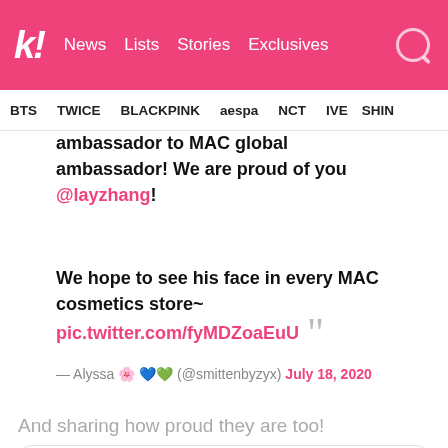k! News  Lists  Stories  Exclusives
BTS  TWICE  BLACKPINK  aespa  NCT  IVE  SHIN
ambassador to MAC global ambassador! We are proud of you @layzhang!
We hope to see his face in every MAC cosmetics store~ pic.twitter.com/fyMDZoaEuU
— Alyssa 🌸💙💚 (@smittenbyzyx) July 18, 2020
And sharing how proud they are too!
[Figure (screenshot): Bottom of a tweet card showing an avatar image and username with Follow link, Twitter logo in top right]